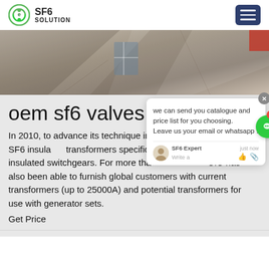SF6 SOLUTION
[Figure (photo): Aerial or outdoor scene showing pavement/ground surface with shadows, partial view of red object at top right]
oem sf6 valves in S...
In 2010, to advance its technique in application, CIC created SF6 insulated transformers specifically for 220... gas-insulated switchgears. For more than thirty years, CIC has also been able to furnish global customers with current transformers (up to 25000A) and potential transformers for use with generator sets.
Get Price
[Figure (screenshot): Chat popup overlay with message: we can send you catalogue and price list for you choosing. Leave us your email or whatsapp. SF6 Expert just now. Write a... with avatar, like and attach icons. Green chat button with red badge showing 1.]